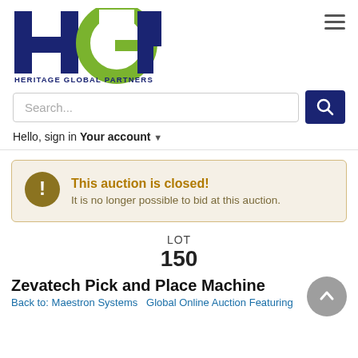[Figure (logo): HGP - Heritage Global Partners logo with H in dark navy, G in green circle outline, P in dark navy, and text HERITAGE GLOBAL PARTNERS below]
Search...
Hello, sign in
Your account
This auction is closed!
It is no longer possible to bid at this auction.
LOT
150
Zevatech Pick and Place Machine
Back to: Maestron Systems   Global Online Auction Featuring...